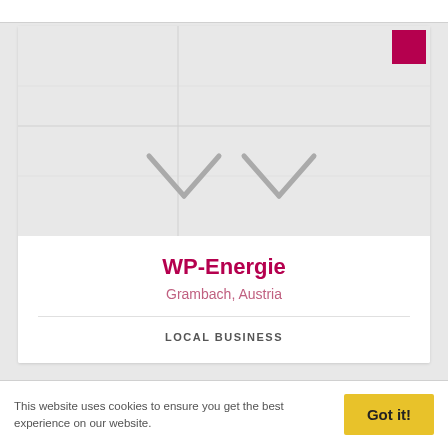[Figure (map): A light grey map thumbnail with a red square marker icon in the top-right corner and faint directional arrow icons in the center]
WP-Energie
Grambach, Austria
LOCAL BUSINESS
This website uses cookies to ensure you get the best experience on our website.